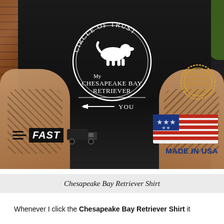[Figure (photo): Man wearing a black t-shirt that reads 'Circle of Trust My Chesapeake Bay Retriever • ← YOU', with tattoos on both arms. Overlaid graphics include a FAST shipping truck icon on the lower left, a Limited Edition stamp on the upper right of the shirt area, and a Made in USA flag on the lower right.]
Chesapeake Bay Retriever Shirt
Whenever I click the Chesapeake Bay Retriever Shirt it